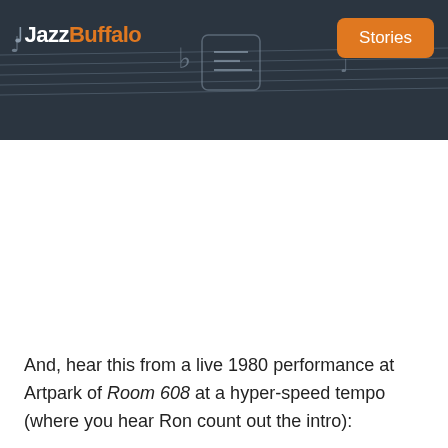JazzBuffalo — Stories
And, hear this from a live 1980 performance at Artpark of Room 608 at a hyper-speed tempo (where you hear Ron count out the intro):